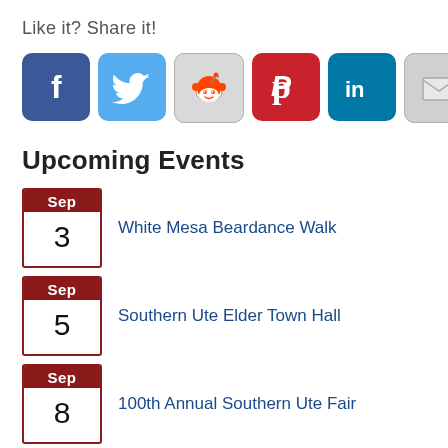Like it? Share it!
[Figure (infographic): Social sharing buttons: Facebook, Twitter, Reddit, Pinterest, LinkedIn, Email]
Upcoming Events
Sep 3 – White Mesa Beardance Walk
Sep 5 – Southern Ute Elder Town Hall
Sep 8 – 100th Annual Southern Ute Fair
Sep 9 – 2022 Southern Ute Fair Powwow
Sep – Native Artists Market and Juried Show